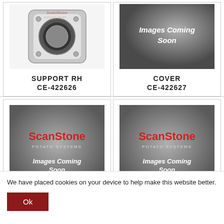[Figure (photo): 3D rendered metal support ring bracket (SUPPORT RH CE-422626) on white background, with ScanStone Potato Systems watermark]
SUPPORT RH
CE-422626
[Figure (photo): Gray placeholder image with text 'Images Coming Soon' and faded ScanStone Potato Systems branding]
COVER
CE-422627
[Figure (photo): Gray placeholder image with ScanStone Potato Systems logo and 'Images Coming Soon' text]
[Figure (photo): Gray placeholder image with ScanStone Potato Systems logo and 'Images Coming Soon' text]
We have placed cookies on your device to help make this website better.